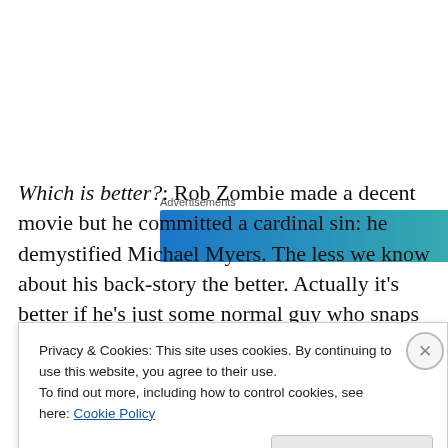[Figure (other): Advertisement banner with blue-teal gradient background]
Which is better?: Rob Zombie made a decent movie but he committed a cardinal sin: he demystified Michael Myers. The less we know about his back-story the better. Actually it's better if he's just some normal guy who snaps for no good reason instead of trailer trash family issues. Verdict: original.
Privacy & Cookies: This site uses cookies. By continuing to use this website, you agree to their use.
To find out more, including how to control cookies, see here: Cookie Policy